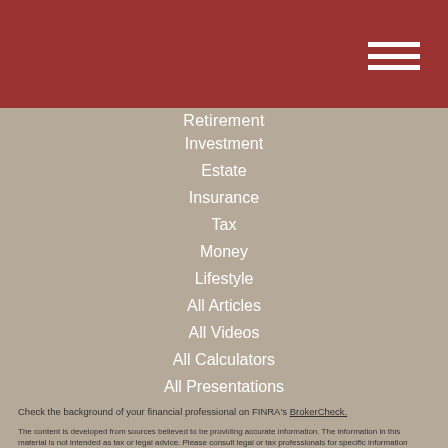[Figure (other): Dark red header bar with hamburger menu icon (three horizontal white lines) in the top right]
Retirement
Investment
Estate
Insurance
Tax
Money
Lifestyle
All Articles
All Videos
All Calculators
All Presentations
Check the background of your financial professional on FINRA's BrokerCheck.
The content is developed from sources believed to be providing accurate information. The information in this material is not intended as tax or legal advice. Please consult legal or tax professionals for specific information regarding your individual situation. Some of this material was developed and produced by FMG Suite to provide information on a topic that may be of interest. FMG Suite is not affiliated with the named representative, broker - dealer, state - or SEC - registered investment advisory firm. The opinions expressed and material provided are for general information, and should not be considered a solicitation for the purchase or sale of any security.